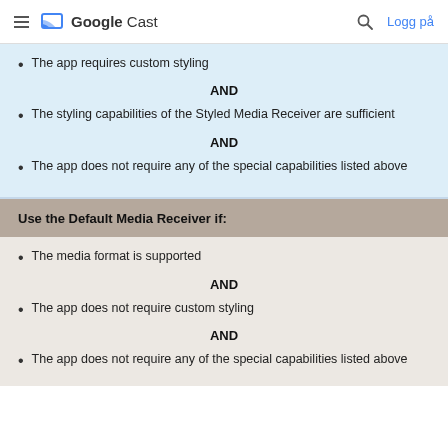Google Cast — Logg på
The app requires custom styling
AND
The styling capabilities of the Styled Media Receiver are sufficient
AND
The app does not require any of the special capabilities listed above
Use the Default Media Receiver if:
The media format is supported
AND
The app does not require custom styling
AND
The app does not require any of the special capabilities listed above